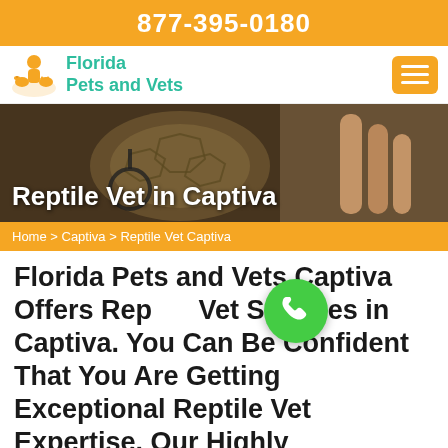877-395-0180
[Figure (logo): Florida Pets and Vets logo with icon of person with animals]
[Figure (photo): Hero image showing hands holding a tortoise with a stethoscope, overlaid with title text 'Reptile Vet in Captiva']
Reptile Vet in Captiva
Home > Captiva > Reptile Vet Captiva
Florida Pets and Vets Captiva Offers Reptile Vet Services in Captiva. You Can Be Confident That You Are Getting Exceptional Reptile Vet Expertise. Our Highly